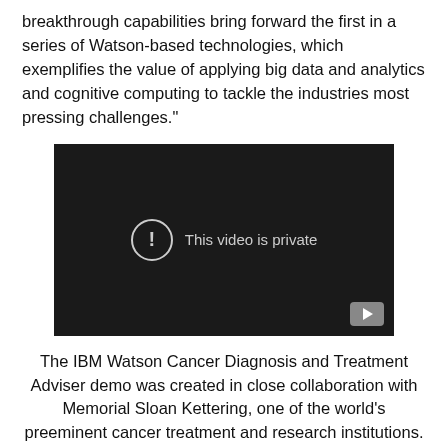breakthrough capabilities bring forward the first in a series of Watson-based technologies, which exemplifies the value of applying big data and analytics and cognitive computing to tackle the industries most pressing challenges."
[Figure (screenshot): Embedded video player showing a black screen with a circular exclamation mark icon and the text 'This video is private', with a YouTube play button in the bottom right corner.]
The IBM Watson Cancer Diagnosis and Treatment Adviser demo was created in close collaboration with Memorial Sloan Kettering, one of the world's preeminent cancer treatment and research institutions. The demo scenario follows the interactions of a hypothetical oncologist and